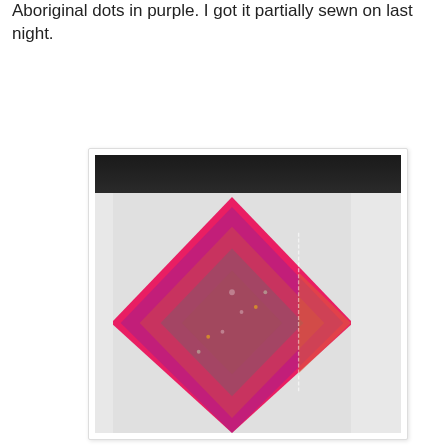Aboriginal dots in purple.  I got it partially sewn on last night.
[Figure (photo): A colorful patchwork/log cabin style quilt displayed hanging on a white wall in a room with a dark ceiling. The quilt features vibrant concentric diamond patterns in multiple colors including red, teal, purple, orange, green, and pink. The quilt appears partially assembled, with some sections not yet fully attached.]